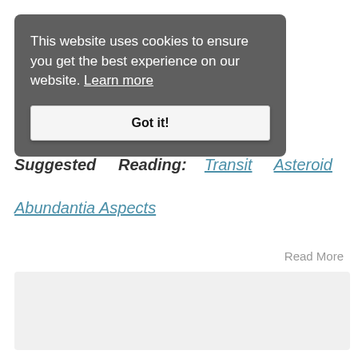This website uses cookies to ensure you get the best experience on our website. Learn more
Got it!
Suggested Reading: Transit Asteroid Abundantia Aspects
Read More